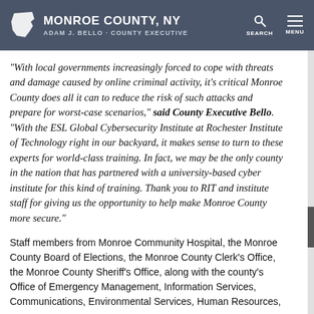MONROE COUNTY, NY — ADAM J. BELLO · COUNTY EXECUTIVE
“With local governments increasingly forced to cope with threats and damage caused by online criminal activity, it’s critical Monroe County does all it can to reduce the risk of such attacks and prepare for worst-case scenarios,” said County Executive Bello. “With the ESL Global Cybersecurity Institute at Rochester Institute of Technology right in our backyard, it makes sense to turn to these experts for world-class training. In fact, we may be the only county in the nation that has partnered with a university-based cyber institute for this kind of training. Thank you to RIT and institute staff for giving us the opportunity to help make Monroe County more secure.”
Staff members from Monroe Community Hospital, the Monroe County Board of Elections, the Monroe County Clerk’s Office, the Monroe County Sheriff’s Office, along with the county’s Office of Emergency Management, Information Services, Communications, Environmental Services, Human Resources,